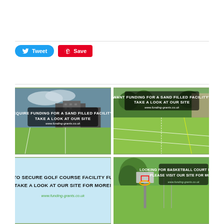[Figure (screenshot): Tweet and Pinterest Save social sharing buttons]
[Figure (photo): Sports pitch with text overlay: REQUIRE FUNDING FOR A SAND FILLED FACILITY? TAKE A LOOK AT OUR SITE www.funding-grants.co.uk]
[Figure (photo): Green sports pitch with text overlay: WANT FUNDING FOR A SAND FILLED FACILITY? TAKE A LOOK AT OUR SITE www.funding-grants.co.uk]
[Figure (photo): Light blue background with text: AIMING TO SECURE GOLF COURSE FACILITY FUNDING? TAKE A LOOK AT OUR SITE FOR MORE! www.funding-grants.co.uk]
[Figure (photo): Basketball court with text overlay: LOOKING FOR BASKETBALL COURT FUNDING? PLEASE VISIT OUR SITE FOR MORE! www.funding-grants.co.uk]